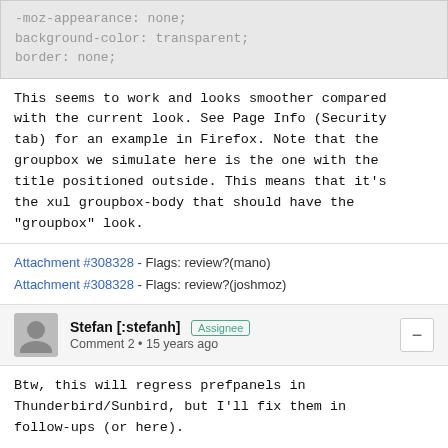[Figure (screenshot): Code block showing CSS properties: -moz-appearance: none; background-color: transparent; border: none;]
This seems to work and looks smoother compared with the current look. See Page Info (Security tab) for an example in Firefox. Note that the groupbox we simulate here is the one with the title positioned outside. This means that it's the xul groupbox-body that should have the "groupbox" look.
Attachment #308328 - Flags: review?(mano)
Attachment #308328 - Flags: review?(joshmoz)
Stefan [:stefanh] Assignee
Comment 2 • 15 years ago
Btw, this will regress prefpanels in Thunderbird/Sunbird, but I'll fix them in follow-ups (or here).